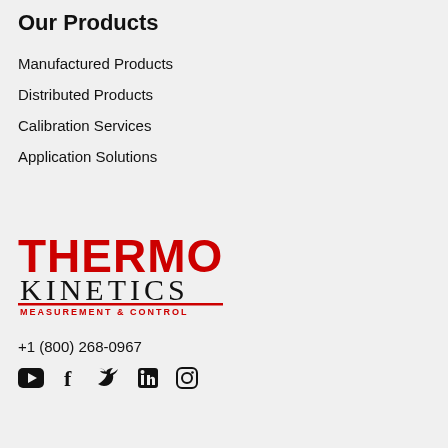Our Products
Manufactured Products
Distributed Products
Calibration Services
Application Solutions
[Figure (logo): Thermo Kinetics Measurement & Control logo — THERMO in bold red block letters, KINETICS in black serif letters, MEASUREMENT & CONTROL in red underline text]
+1 (800) 268-0967
[Figure (infographic): Social media icons: YouTube, Facebook, Twitter, LinkedIn, Instagram]